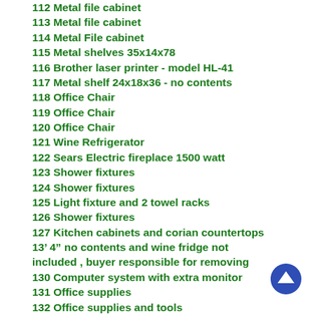112 Metal file cabinet
113 Metal file cabinet
114 Metal File cabinet
115 Metal shelves 35x14x78
116 Brother laser printer - model HL-41
117 Metal shelf 24x18x36 - no contents
118 Office Chair
119 Office Chair
120 Office Chair
121 Wine Refrigerator
122 Sears Electric fireplace 1500 watt
123 Shower fixtures
124 Shower fixtures
125 Light fixture and 2 towel racks
126 Shower fixtures
127 Kitchen cabinets and corian countertops 13’ 4” no contents and wine fridge not included , buyer responsible for removing
130 Computer system with extra monitor
131 Office supplies
132 Office supplies and tools
133 Ring binders, samples and office supplies
134 Samples and reference guide